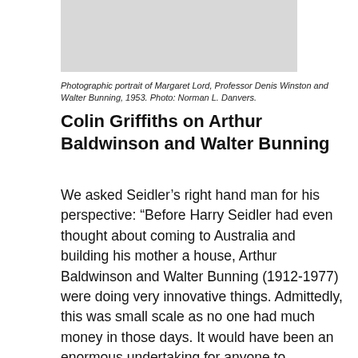[Figure (photo): Photographic portrait placeholder — grey rectangle representing cropped photo of Margaret Lord, Professor Denis Winston and Walter Bunning, 1953]
Photographic portrait of Margaret Lord, Professor Denis Winston and Walter Bunning, 1953. Photo: Norman L. Danvers.
Colin Griffiths on Arthur Baldwinson and Walter Bunning
We asked Seidler’s right hand man for his perspective: “Before Harry Seidler had even thought about coming to Australia and building his mother a house, Arthur Baldwinson and Walter Bunning (1912-1977) were doing very innovative things. Admittedly, this was small scale as no one had much money in those days. It would have been an enormous undertaking for anyone to commission a modernist home, and so explorations into modernism were very isolated exercises, and is probably why these early explorations aren’t as well known by the younger